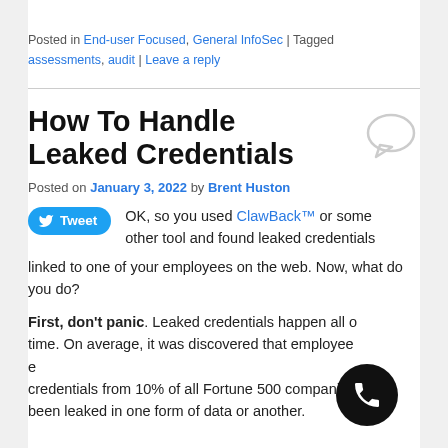Posted in End-user Focused, General InfoSec | Tagged assessments, audit | Leave a reply
How To Handle Leaked Credentials
Posted on January 3, 2022 by Brent Huston
OK, so you used ClawBack™ or some other tool and found leaked credentials linked to one of your employees on the web. Now, what do you do?
First, don't panic. Leaked credentials happen all of the time. On average, it was discovered that employee credentials from 10% of all Fortune 500 companies have been leaked in one form of data or another.